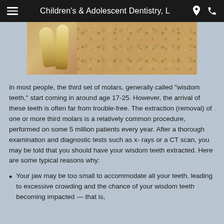Children's & Adolescent Dentistry, L
[Figure (photo): Close-up cross-section image showing wisdom teeth (third molars) embedded in jawbone tissue, with tooth roots visible against spongy bone structure.]
In most people, the third set of molars, generally called “wisdom teeth,” start coming in around age 17-25. However, the arrival of these teeth is often far from trouble-free. The extraction (removal) of one or more third molars is a relatively common procedure, performed on some 5 million patients every year. After a thorough examination and diagnostic tests such as x-rays or a CT scan, you may be told that you should have your wisdom teeth extracted. Here are some typical reasons why:
Your jaw may be too small to accommodate all your teeth, leading to excessive crowding and the chance of your wisdom teeth becoming impacted — that is,